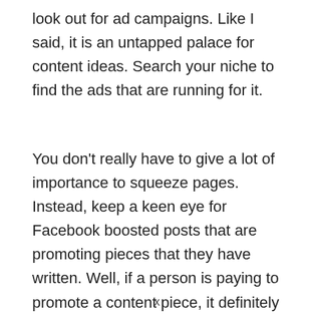look out for ad campaigns. Like I said, it is an untapped palace for content ideas. Search your niche to find the ads that are running for it.
You don't really have to give a lot of importance to squeeze pages. Instead, keep a keen eye for Facebook boosted posts that are promoting pieces that they have written. Well, if a person is paying to promote a content piece, it definitely means that the content is performing well.
x